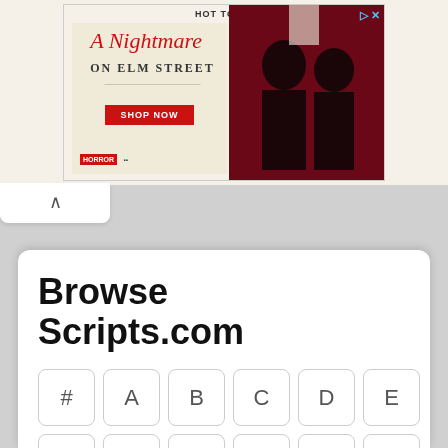[Figure (photo): Hot Topic advertisement banner for 'A Nightmare on Elm Street' merchandise featuring two young people in dark clothing against a red curtain background, with a 'SHOP NOW' red button]
Browse Scripts.com
# A B C D E F G H I J K